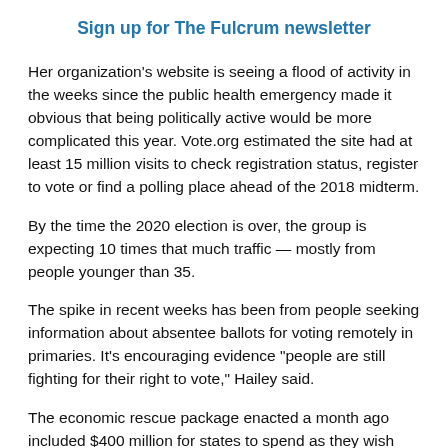Sign up for The Fulcrum newsletter
Her organization's website is seeing a flood of activity in the weeks since the public health emergency made it obvious that being politically active would be more complicated this year. Vote.org estimated the site had at least 15 million visits to check registration status, register to vote or find a polling place ahead of the 2018 midterm.
By the time the 2020 election is over, the group is expecting 10 times that much traffic — mostly from people younger than 35.
The spike in recent weeks has been from people seeking information about absentee ballots for voting remotely in primaries. It's encouraging evidence "people are still fighting for their right to vote," Hailey said.
The economic rescue package enacted a month ago included $400 million for states to spend as they wish making voting safer and easier amid the coronavirus crisis. Democracy reform groups